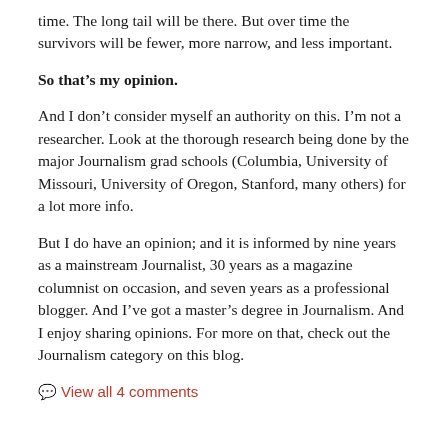time. The long tail will be there. But over time the survivors will be fewer, more narrow, and less important.
So that’s my opinion.
And I don’t consider myself an authority on this. I’m not a researcher. Look at the thorough research being done by the major Journalism grad schools (Columbia, University of Missouri, University of Oregon, Stanford, many others) for a lot more info.
But I do have an opinion; and it is informed by nine years as a mainstream Journalist, 30 years as a magazine columnist on occasion, and seven years as a professional blogger. And I’ve got a master’s degree in Journalism. And I enjoy sharing opinions. For more on that, check out the Journalism category on this blog.
View all 4 comments